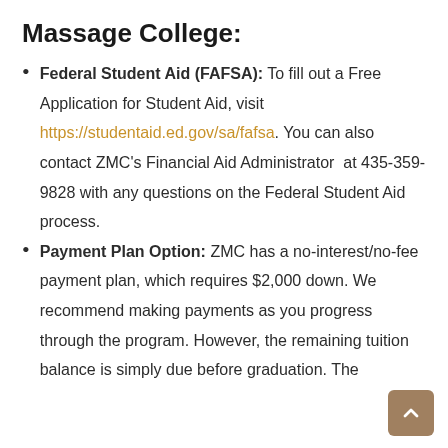Massage College:
Federal Student Aid (FAFSA): To fill out a Free Application for Student Aid, visit https://studentaid.ed.gov/sa/fafsa. You can also contact ZMC's Financial Aid Administrator at 435-359-9828 with any questions on the Federal Student Aid process.
Payment Plan Option: ZMC has a no-interest/no-fee payment plan, which requires $2,000 down. We recommend making payments as you progress through the program. However, the remaining tuition balance is simply due before graduation. The...